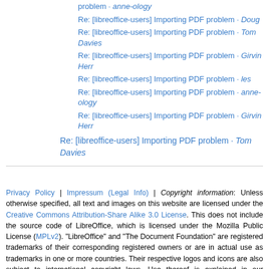Re: [libreoffice-users] Importing PDF problem · anne-ology
Re: [libreoffice-users] Importing PDF problem · Doug
Re: [libreoffice-users] Importing PDF problem · Tom Davies
Re: [libreoffice-users] Importing PDF problem · Girvin Herr
Re: [libreoffice-users] Importing PDF problem · les
Re: [libreoffice-users] Importing PDF problem · anne-ology
Re: [libreoffice-users] Importing PDF problem · Girvin Herr
Re: [libreoffice-users] Importing PDF problem · Tom Davies
Privacy Policy | Impressum (Legal Info) | Copyright information: Unless otherwise specified, all text and images on this website are licensed under the Creative Commons Attribution-Share Alike 3.0 License. This does not include the source code of LibreOffice, which is licensed under the Mozilla Public License (MPLv2). "LibreOffice" and "The Document Foundation" are registered trademarks of their corresponding registered owners or are in actual use as trademarks in one or more countries. Their respective logos and icons are also subject to international copyright laws. Use thereof is explained in our trademark policy.